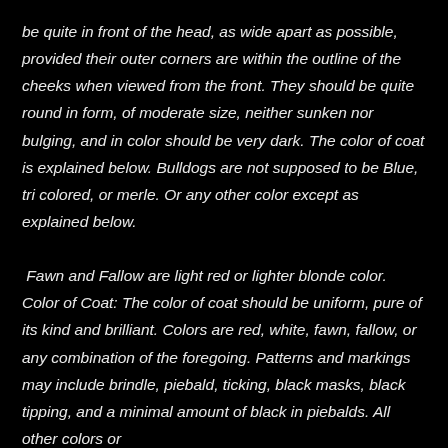be quite in front of the head, as wide apart as possible, provided their outer corners are within the outline of the cheeks when viewed from the front. They should be quite round in form, of moderate size, neither sunken nor bulging, and in color should be very dark. The color of coat is explained below. Bulldogs are not supposed to be Blue, tri colored, or merle. Or any other color except as explained below.

 Fawn and Fallow are light red or lighter blonde color. Color of Coat: The color of coat should be uniform, pure of its kind and brilliant. Colors are red, white, fawn, fallow, or any combination of the foregoing. Patterns and markings may include brindle, piebald, ticking, black masks, black tipping, and a minimal amount of black in piebalds. All other colors or